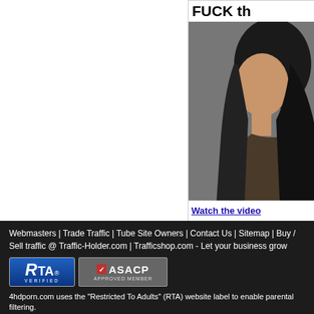[Figure (photo): Partial advertisement banner visible at top right showing a title starting with 'FUCK th' and a photo of a dark-haired person, with a link 'Watch the video' below.]
Webmasters | Trade Traffic | Tube Site Owners | Contact Us | Sitemap | Buy / Sell traffic @ Traffic-Holder.com | Trafficshop.com - Let your business grow
[Figure (logo): RTA VERIFIED badge logo (blue background)]
[Figure (logo): ASACP APPROVED MEMBER badge logo (grey background)]
4hdporn.com uses the "Restricted To Adults" (RTA) website label to enable parental filtering.
Disclaimer: 4hdporn.com has zero-tolerance against illegal pornography. Our site content is frequently updated by searching for high quality content. We have no control over the content of these websites. All links conformed to our rules at the time of listing.